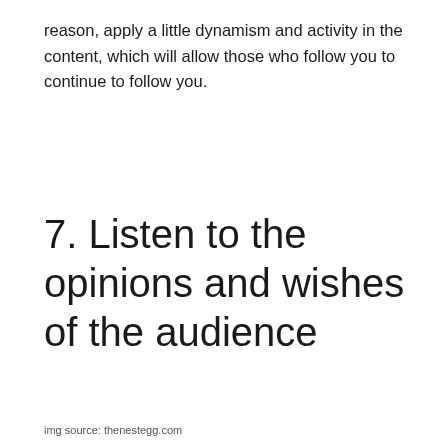reason, apply a little dynamism and activity in the content, which will allow those who follow you to continue to follow you.
7. Listen to the opinions and wishes of the audience
img source: thenestegg.com